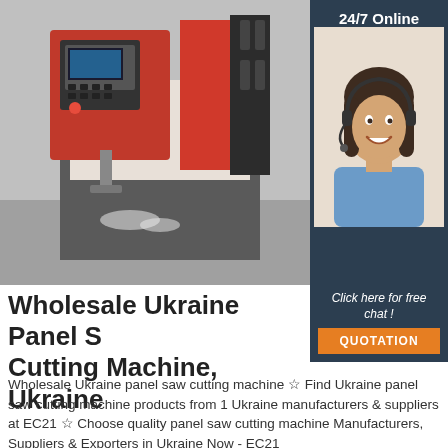[Figure (photo): CNC panel saw cutting machine, red and grey industrial machine with control panel, photographed in a factory.]
24/7 Online
[Figure (photo): Woman with headset smiling, representing 24/7 online customer support chat service.]
Wholesale Ukraine Panel Saw Cutting Machine, Ukraine
Click here for free chat !
QUOTATION
Wholesale Ukraine panel saw cutting machine ☆ Find Ukraine panel saw cutting machine products from 1 Ukraine manufacturers & suppliers at EC21 ☆ Choose quality panel saw cutting machine Manufacturers, Suppliers & Exporters in Ukraine Now - EC21